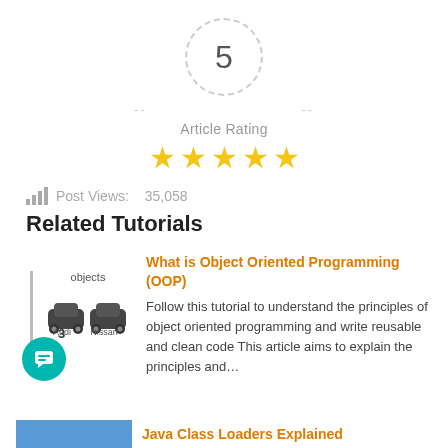[Figure (infographic): Dashed circle with number 5 and horizontal dashes on each side, representing article rating score]
Article Rating
[Figure (infographic): Five gold stars representing the article rating]
Post Views:   35,058
Related Tutorials
[Figure (illustration): OOP illustration showing two car objects labeled Audi and Nissan under an 'objects' label with a vertical bar on the left]
What is Object Oriented Programming (OOP)
Follow this tutorial to understand the principles of object oriented programming and write reusable and clean code This article aims to explain the principles and...
[Figure (illustration): Blue rectangle thumbnail for next tutorial]
Java Class Loaders Explained